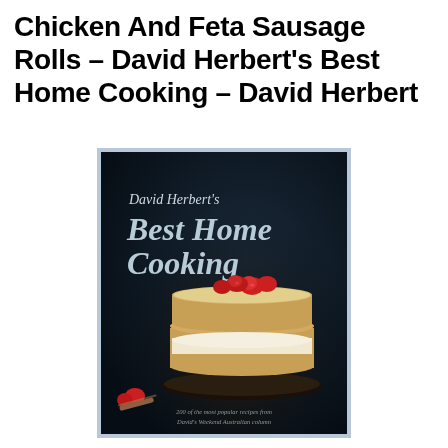Chicken And Feta Sausage Rolls – David Herbert's Best Home Cooking – David Herbert
[Figure (photo): Book cover of 'David Herbert's Best Home Cooking' showing a strawberry sponge cake on a dark background, with subtitle '200 of the most popular recipes from David's Weekend Australian column']